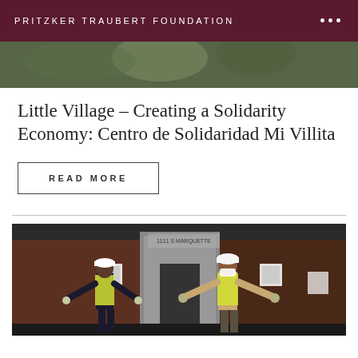PRITZKER TRAUBERT FOUNDATION
[Figure (photo): Partial photo visible behind the page header, showing people outdoors with greenery]
Little Village – Creating a Solidarity Economy: Centro de Solidaridad Mi Villita
READ MORE
[Figure (photo): Two people wearing hard hats, yellow safety vests, masks and gloves standing in front of a building at 1111 S Marquette, arms spread wide]